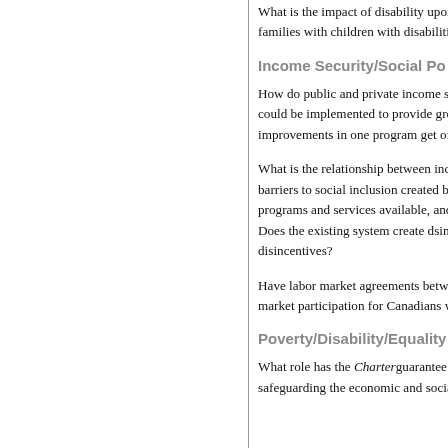What is the impact of disability upon families with children with disabilities
Income Security/Social Po
How do public and private income se could be implemented to provide grea improvements in one program get offs
What is the relationship between inco barriers to social inclusion created by programs and services available, and Does the existing system create disin disincentives?
Have labor market agreements betwee market participation for Canadians wi
Poverty/Disability/Equality
What role has the Charter guarantee o safeguarding the economic and social